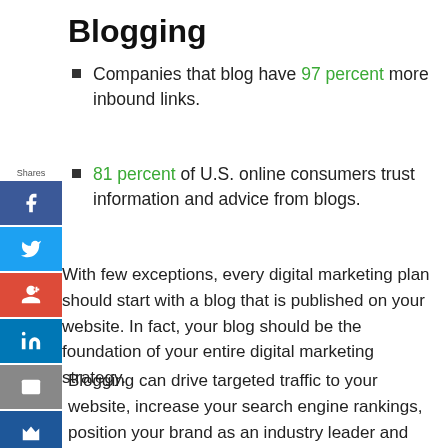Blogging
Companies that blog have 97 percent more inbound links.
81 percent of U.S. online consumers trust information and advice from blogs.
With few exceptions, every digital marketing plan should start with a blog that is published on your website. In fact, your blog should be the foundation of your entire digital marketing strategy.
Blogging can drive targeted traffic to your website, increase your search engine rankings, position your brand as an industry leader and give you the opportunity to develop better relationships with